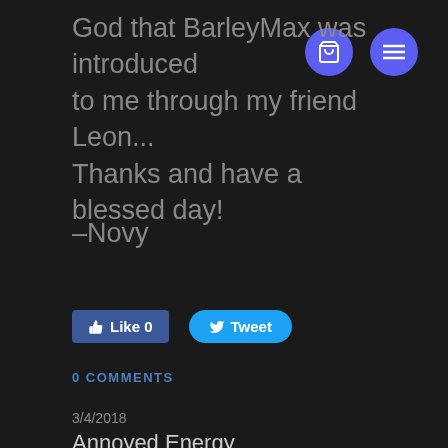God that BarleyMax was introduced to me through my friend Leon... Thanks and have a blessed day!
-Novy
[Figure (screenshot): Facebook Like button showing 'Like 0' and Twitter Tweet button]
0 COMMENTS
3/4/2018
Annoyed Energy
Advanced SuperFood